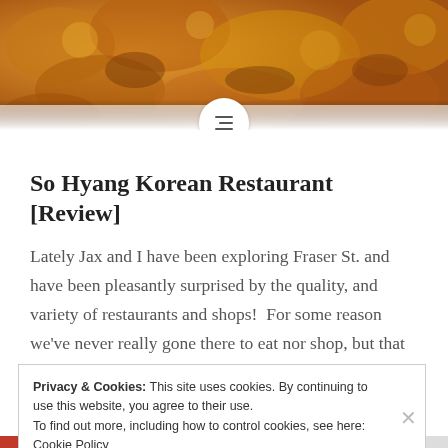[Figure (photo): Close-up photo of fried Korean food (likely Korean fried chicken or similar), golden-brown crispy texture, warm orange-brown tones]
So Hyang Korean Restaurant [Review]
Lately Jax and I have been exploring Fraser St. and have been pleasantly surprised by the quality, and variety of restaurants and shops!  For some reason we've never really gone there to eat nor shop, but that has all changed now!  Ever since my former favourite Korean restaurant shut down due to fire, I've been...
Privacy & Cookies: This site uses cookies. By continuing to use this website, you agree to their use.
To find out more, including how to control cookies, see here: Cookie Policy
Close and accept